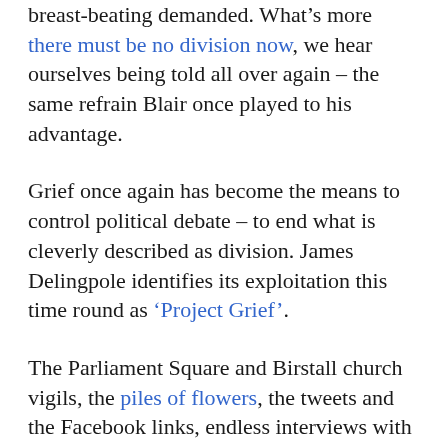breast-beating demanded. What's more there must be no division now, we hear ourselves being told all over again – the same refrain Blair once played to his advantage.
Grief once again has become the means to control political debate – to end what is cleverly described as division. James Delingpole identifies its exploitation this time round as 'Project Grief'.
The Parliament Square and Birstall church vigils, the piles of flowers, the tweets and the Facebook links, endless interviews with sobbing members of the public who have never even met the MP, all no doubt well intended, play into this mind management.
We saw it after the bombing of the Charlie Hebdo offices when political leaders such as